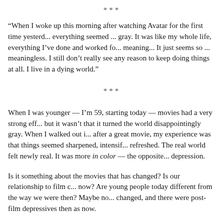***
"When I woke up this morning after watching Avatar for the first time yesterday, everything seemed ... gray. It was like my whole life, everything I've done and worked for, had lost its meaning... It just seems so ... meaningless. I still don't really see any reason to keep doing things at all. I live in a dying world."
***
When I was younger — I'm 59, starting today — movies had a very strong effect on me, but it wasn't that it turned the world disappointingly gray. When I walked out into the street after a great movie, my experience was that things seemed sharpened, intensified, refreshed. The real world felt newly real. It was more in color — the opposite of depression.
Is it something about the movies that has changed? Is our relationship to film different now? Are young people today different from the way we were then? Maybe nothing has changed, and there were post-film depressives then as now.
Posted by Ann Althouse at 8:49 AM  103 comments
Tags: "Avatar", Avatar, Beavis and Butt-Head, Brave New World, emotion